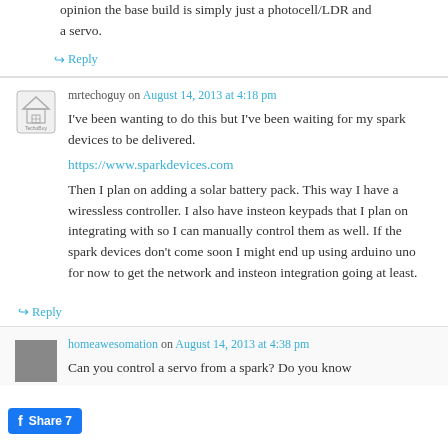opinion the base build is simply just a photocell/LDR and a servo.
↪ Reply
mrtechoguy on August 14, 2013 at 4:18 pm
I've been wanting to do this but I've been waiting for my spark devices to be delivered.
https://www.sparkdevices.com
Then I plan on adding a solar battery pack. This way I have a wiressless controller. I also have insteon keypads that I plan on integrating with so I can manually control them as well. If the spark devices don't come soon I might end up using arduino uno for now to get the network and insteon integration going at least.
↪ Reply
homeawesomation on August 14, 2013 at 4:38 pm
Can you control a servo from a spark? Do you know